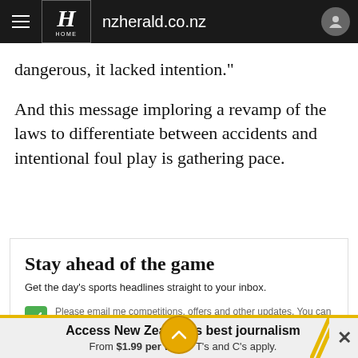nzherald.co.nz
dangerous, it lacked intention."
And this message imploring a revamp of the laws to differentiate between accidents and intentional foul play is gathering pace.
Stay ahead of the game
Get the day's sports headlines straight to your inbox.
Please email me competitions, offers and other updates. You can stop these at any time.
Access New Zealand's best journalism From $1.99 per week* T's and C's apply.